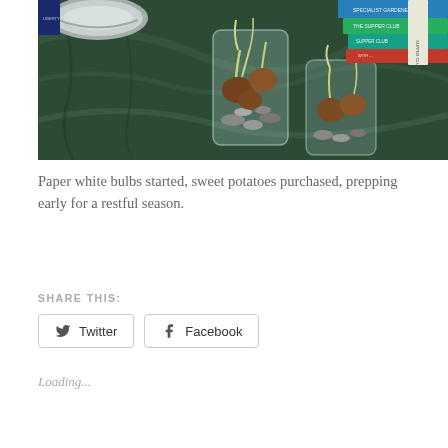[Figure (photo): Photo of paper white bulbs in glass vases filled with rocks, placed on a green marble countertop, with books in the background including one titled 'Supper Club'. A silver bowl is visible in the upper left.]
Paper white bulbs started, sweet potatoes purchased, prepping early for a restful season.
SHARE THIS:
Twitter
Facebook
Loading...